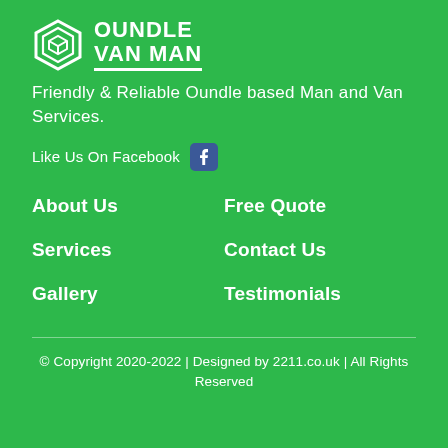[Figure (logo): Oundle Van Man logo with hexagon icon and company name in white on green background]
Friendly & Reliable Oundle based Man and Van Services.
Like Us On Facebook
About Us
Free Quote
Services
Contact Us
Gallery
Testimonials
© Copyright 2020-2022 | Designed by 2211.co.uk | All Rights Reserved